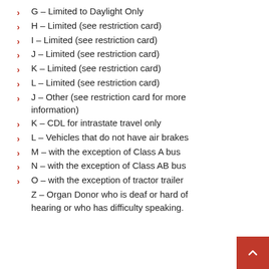G – Limited to Daylight Only
H – Limited (see restriction card)
I – Limited (see restriction card)
J – Limited (see restriction card)
K – Limited (see restriction card)
L – Limited (see restriction card)
J – Other (see restriction card for more information)
K – CDL for intrastate travel only
L – Vehicles that do not have air brakes
M – with the exception of Class A bus
N – with the exception of Class AB bus
O – with the exception of tractor trailer
Z – Organ Donor who is deaf or hard of hearing or who has difficulty speaking.